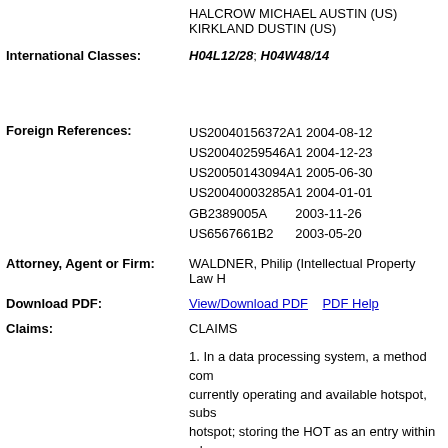HALCROW MICHAEL AUSTIN (US)
KIRKLAND DUSTIN (US)
International Classes: H04L12/28; H04W48/14
Foreign References:
US20040156372A1 2004-08-12
US20040259546A1 2004-12-23
US20050143094A1 2005-06-30
US20040003285A1 2004-01-01
GB2389005A 2003-11-26
US6567661B2 2003-05-20
Attorney, Agent or Firm: WALDNER, Philip (Intellectual Property Law H...
Download PDF: View/Download PDF   PDF Help
Claims:
CLAIMS
1. In a data processing system, a method com... currently operating and available hotspot, subs... hotspot; storing the HOT as an entry within a h...
2. The method of Claim 1, wherein said step o... parameters and performance metrics and a se...